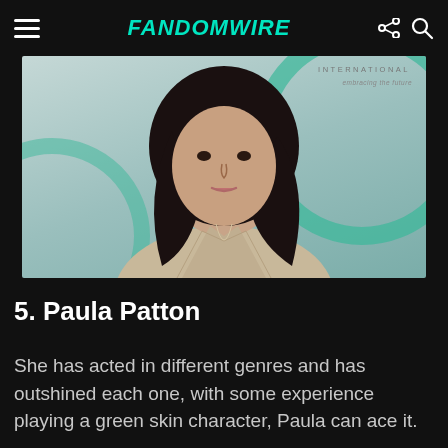FandomWire
[Figure (photo): Photo of a woman with long dark hair wearing a light patterned jacket, posed in front of a light teal/mint background with partial green circular design and text reading INTERNATIONAL]
5. Paula Patton
She has acted in different genres and has outshined each one, with some experience playing a green skin character, Paula can ace it.